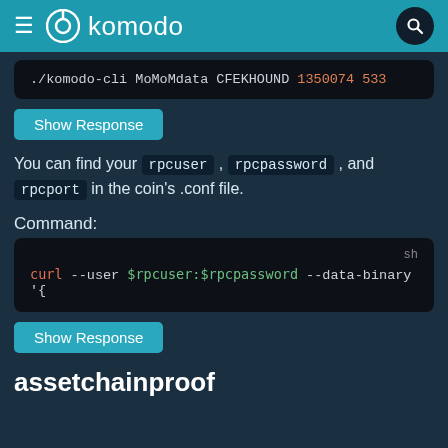komodo
./komodo-cli MoMoMdata CFEKHOUND 1350074 533
Show Response
You can find your rpcuser, rpcpassword, and rpcport in the coin's .conf file.
Command:
curl --user $rpcuser:$rpcpassword --data-binary '{'
Show Response
assetchainproof